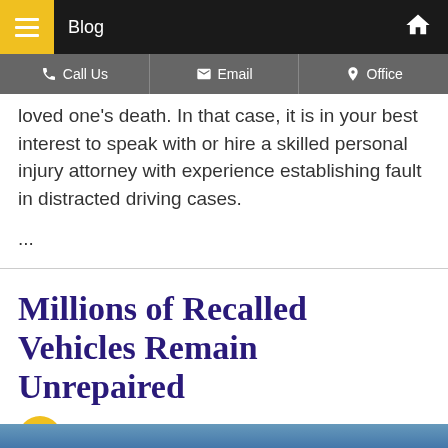Blog
loved one's death. In that case, it is in your best interest to speak with or hire a skilled personal injury attorney with experience establishing fault in distracted driving cases.
...
Millions of Recalled Vehicles Remain Unrepaired
Posted on September 28, 2021 in Car Crashes